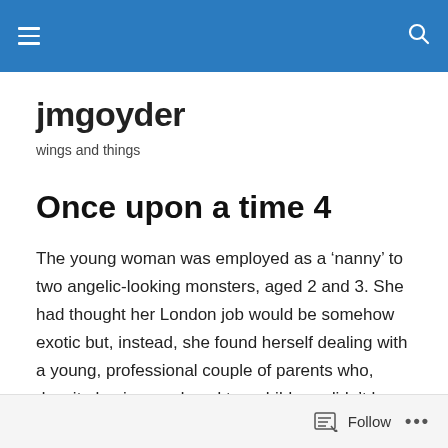jmgoyder [navigation bar with hamburger menu and search icon]
jmgoyder
wings and things
Once upon a time 4
The young woman was employed as a ‘nanny’ to two angelic-looking monsters, aged 2 and 3. She had thought her London job would be somehow exotic but, instead, she found herself dealing with a young, professional couple of parents who, despite having produced two children, didn’t have a clue what to do with them. The
Follow ...